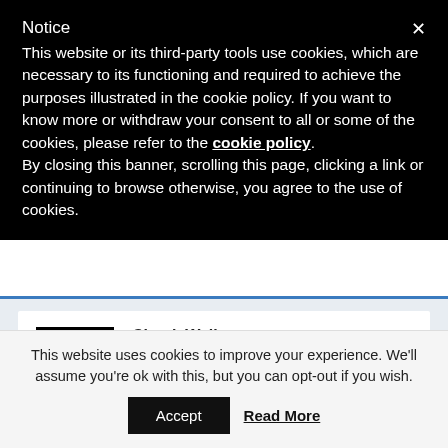Notice
This website or its third-party tools use cookies, which are necessary to its functioning and required to achieve the purposes illustrated in the cookie policy. If you want to know more or withdraw your consent to all or some of the cookies, please refer to the cookie policy.
By closing this banner, scrolling this page, clicking a link or continuing to browse otherwise, you agree to the use of cookies.
Chuck Wallant
September 28, 2011 at 7:45 AM
Fantastic show, Michael and Evan! Well done on both of your parts.
This website uses cookies to improve your experience. We'll assume you're ok with this, but you can opt-out if you wish.
Accept   Read More